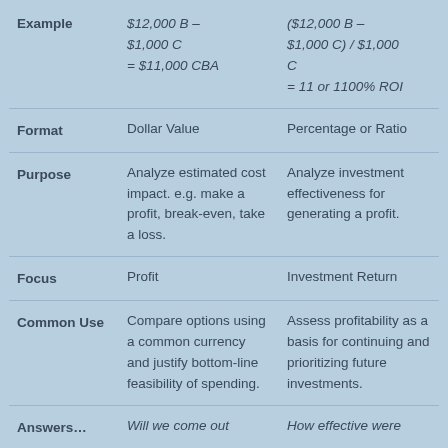|  | CBA | ROI |
| --- | --- | --- |
| Example | $12,000 B – $1,000 C = $11,000 CBA | ($12,000 B – $1,000 C) / $1,000 C = 11 or 1100% ROI |
| Format | Dollar Value | Percentage or Ratio |
| Purpose | Analyze estimated cost impact. e.g. make a profit, break-even, take a loss. | Analyze investment effectiveness for generating a profit. |
| Focus | Profit | Investment Return |
| Common Use | Compare options using a common currency and justify bottom-line feasibility of spending. | Assess profitability as a basis for continuing and prioritizing future investments. |
| Answers… | Will we come out | How effective were |